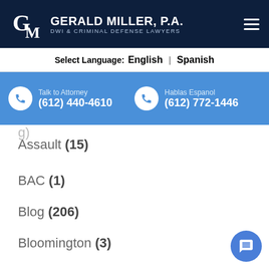GERALD MILLER, P.A. DWI & CRIMINAL DEFENSE LAWYERS
Select Language: English | Spanish
Talk to Attorney (612) 440-4610 | Hablas Espanol (612) 772-1446
Assault (15)
BAC (1)
Blog (206)
Bloomington (3)
Breathalyzer (1)
BWI (1)
Criminal Defense (32)